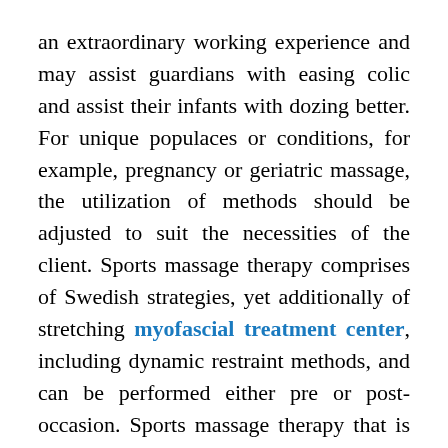an extraordinary working experience and may assist guardians with easing colic and assist their infants with dozing better. For unique populaces or conditions, for example, pregnancy or geriatric massage, the utilization of methods should be adjusted to suit the necessities of the client. Sports massage therapy comprises of Swedish strategies, yet additionally of stretching myofascial treatment center, including dynamic restraint methods, and can be performed either pre or post-occasion. Sports massage therapy that is performed pre-occasion utilizes fast, cadenced developments to heat up and stretch the muscles, setting them up for the interest to be put on them. Post-occasion sports massage is increasingly slow finished to alleviate torment, enlarging, aid the evacuation of